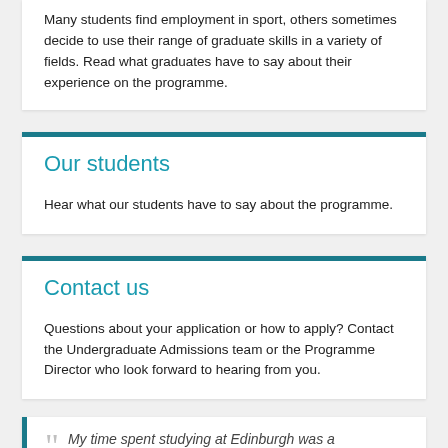Many students find employment in sport, others sometimes decide to use their range of graduate skills in a variety of fields. Read what graduates have to say about their experience on the programme.
Our students
Hear what our students have to say about the programme.
Contact us
Questions about your application or how to apply? Contact the Undergraduate Admissions team or the Programme Director who look forward to hearing from you.
My time spent studying at Edinburgh was a